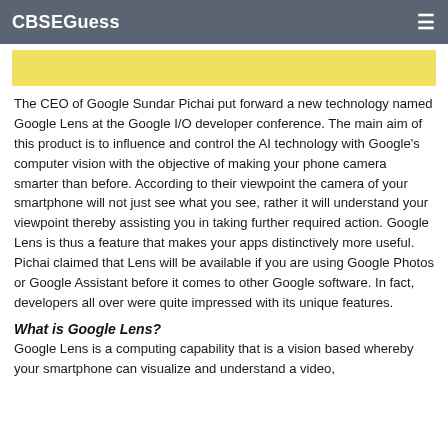CBSEGuess
[Figure (other): Yellow banner/highlight bar]
The CEO of Google Sundar Pichai put forward a new technology named Google Lens at the Google I/O developer conference. The main aim of this product is to influence and control the AI technology with Google's computer vision with the objective of making your phone camera smarter than before. According to their viewpoint the camera of your smartphone will not just see what you see, rather it will understand your viewpoint thereby assisting you in taking further required action. Google Lens is thus a feature that makes your apps distinctively more useful. Pichai claimed that Lens will be available if you are using Google Photos or Google Assistant before it comes to other Google software. In fact, developers all over were quite impressed with its unique features.
What is Google Lens?
Google Lens is a computing capability that is a vision based whereby your smartphone can visualize and understand a video,